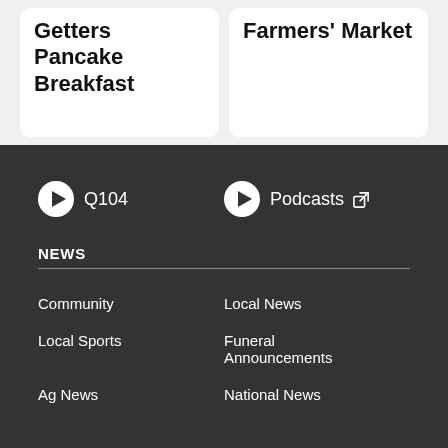Getters Pancake Breakfast
Farmers' Market
Q104
Podcasts
NEWS
Community
Local News
Local Sports
Funeral Announcements
Ag News
National News